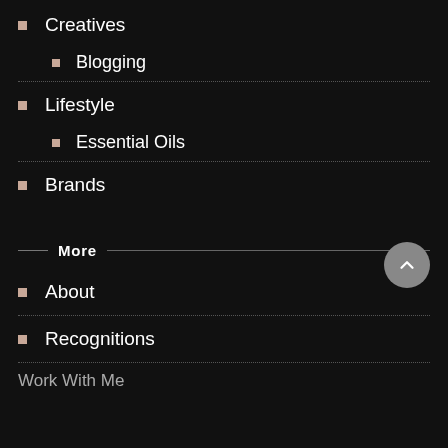Creatives
Blogging
Lifestyle
Essential Oils
Brands
More
About
Recognitions
Work With Me